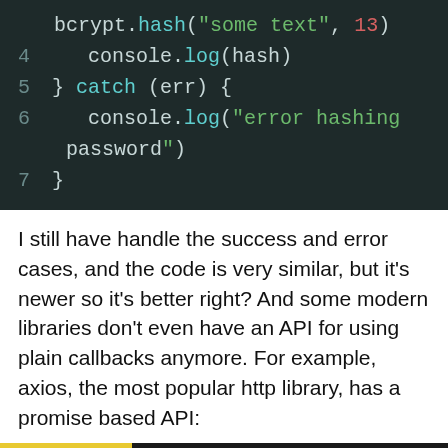[Figure (screenshot): Code block showing JavaScript try-catch snippet with bcrypt.hash, console.log, and catch(err) lines numbered 3-7 on dark background]
I still have handle the success and error cases, and the code is very similar, but it’s newer so it’s better right? And some modern libraries don’t even have an API for using plain callbacks anymore. For example, axios, the most popular http library, has a promise based API:
[Figure (screenshot): JavaScript code block header bar with yellow JavaScript language tag and play/copy icons, with first line showing axios.get("https://api.kanye.rest..."]